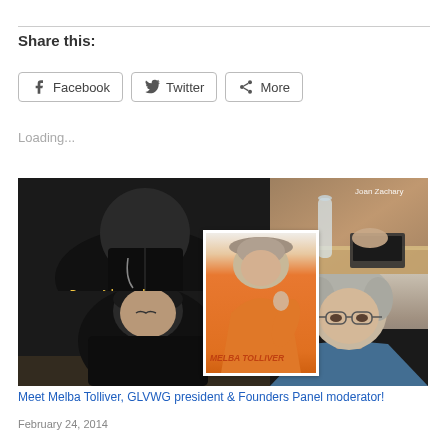Share this:
Facebook
Twitter
More
Loading...
[Figure (photo): Composite photo showing Peggy Adamczyk (top-left, dark background), Joan Zachary (top-right, at desk), Melba Tolliver (center inset, orange top with label MELBA TOLLIVER), and two other women in bottom row]
Meet Melba Tolliver, GLVWG president & Founders Panel moderator!
February 24, 2014